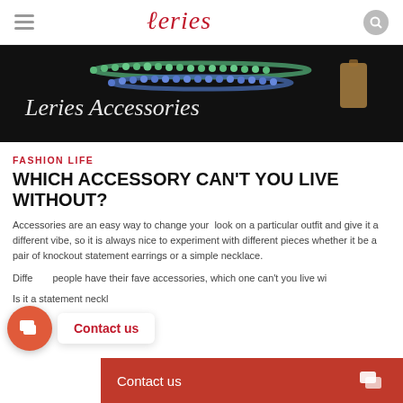Leries
[Figure (photo): Dark background image showing beaded necklaces with 'Leries Accessories' cursive text overlay]
FASHION LIFE
WHICH ACCESSORY CAN'T YOU LIVE WITHOUT?
Accessories are an easy way to change your look on a particular outfit and give it a different vibe, so it is always nice to experiment with different pieces whether it be a pair of knockout statement earrings or a simple necklace.
Different people have their fave accessories, which one can't you live without?
Is it a statement necklace...
[Figure (other): Contact us chat bubble icon (orange circle with chat icon) and popup with 'Contact us' text]
[Figure (other): Red 'Contact us' bar at bottom of page]